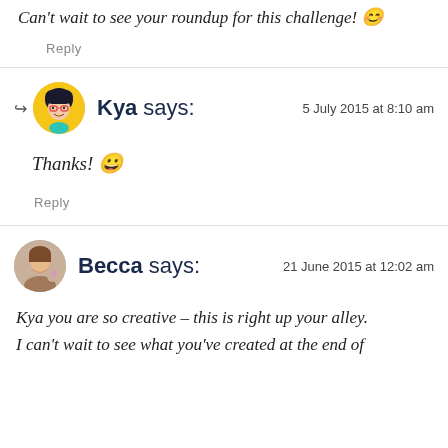[partial top text cut off]
Reply
Kya says:
5 July 2015 at 8:10 am
Thanks! 😀
Reply
Becca says:
21 June 2015 at 12:02 am
Kya you are so creative – this is right up your alley. I can't wait to see what you've created at the end of